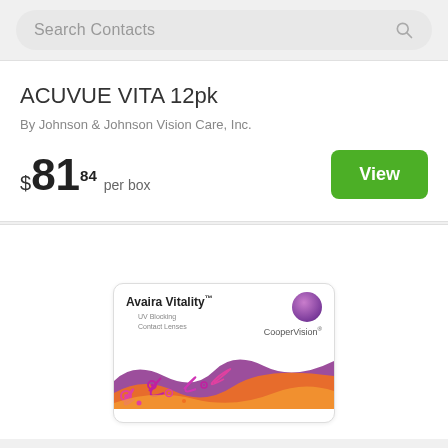Search Contacts
ACUVUE VITA 12pk
By Johnson & Johnson Vision Care, Inc.
$81.84 per box
[Figure (photo): Avaira Vitality contact lens box with purple sphere and CooperVision branding, colorful wave design at bottom]